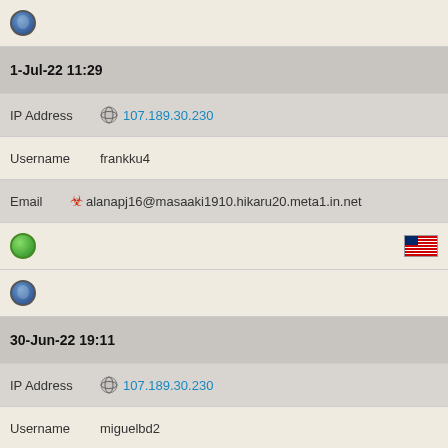[Figure (other): Opera browser icon (blue circle)]
1-Jul-22 11:29
IP Address  107.189.30.230
Username  frankku4
Email  alanapj16@masaaki1910.hikaru20.meta1.in.net
[Figure (other): Globe icon and US flag]
[Figure (other): Opera browser icon (blue circle)]
30-Jun-22 19:11
IP Address  107.189.30.230
Username  miguelbd2
Email  wv69@masashi36.meta1.in.net
[Figure (other): Globe icon and US flag]
[Figure (other): Opera browser icon (blue circle)]
30-Jun-22 06:54
IP Address  107.189.30.230
Username  randyos1
Email  (partial)